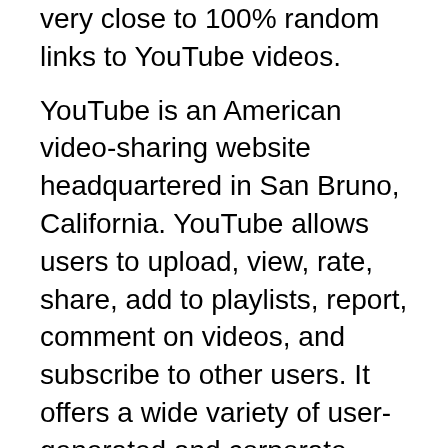very close to 100% random links to YouTube videos.
YouTube is an American video-sharing website headquartered in San Bruno, California. YouTube allows users to upload, view, rate, share, add to playlists, report, comment on videos, and subscribe to other users. It offers a wide variety of user-generated and corporate media videos. Available content includes video clips, TV show clips, music videos, short and documentary films, audio recordings, movie trailers, live streams, and other content such as video blogging, short original videos, and educational videos. Most content on YouTube is uploaded by individuals, but media corporations including CBS, the BBC, Vevo, and Hulu offer some of their material via YouTube as part of the YouTube partnership program. Unregistered users can only watch videos on the site, while registered users are permitted to upload an unlimited number of videos and add comments to videos. Videos deemed potentially inappropriate are available only to registered users affirming themselves to be at least 18 years old.
YouTube and selected creators earn advertising...